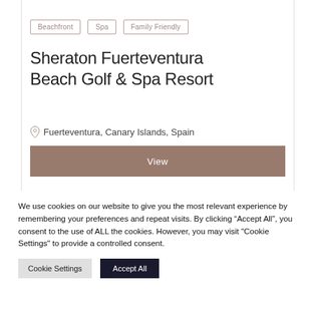Beachfront
Spa
Family Friendly
Sheraton Fuerteventura Beach Golf & Spa Resort
Fuerteventura, Canary Islands, Spain
View
We use cookies on our website to give you the most relevant experience by remembering your preferences and repeat visits. By clicking “Accept All”, you consent to the use of ALL the cookies. However, you may visit "Cookie Settings" to provide a controlled consent.
Cookie Settings
Accept All